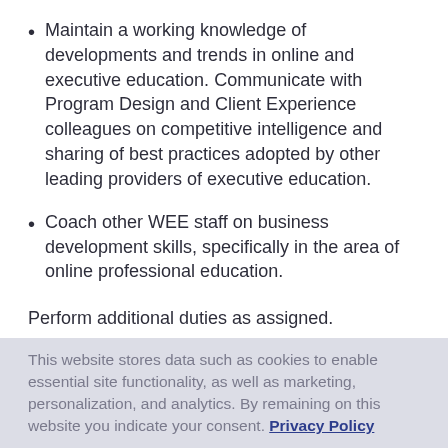Maintain a working knowledge of developments and trends in online and executive education. Communicate with Program Design and Client Experience colleagues on competitive intelligence and sharing of best practices adopted by other leading providers of executive education.
Coach other WEE staff on business development skills, specifically in the area of online professional education.
Perform additional duties as assigned.
QUALIFICATIONS: Master's degree in a related field and 5–7 years of experience or equivalent combination of
This website stores data such as cookies to enable essential site functionality, as well as marketing, personalization, and analytics. By remaining on this website you indicate your consent. Privacy Policy